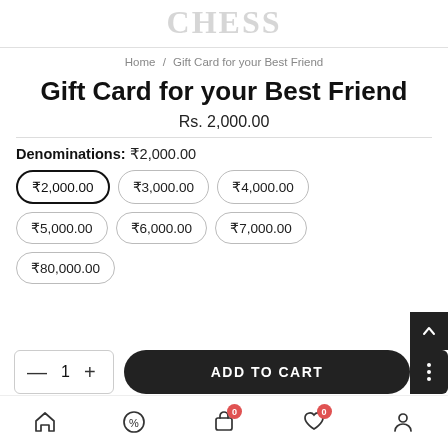CHESS (logo/brand, cropped)
Home / Gift Card for your Best Friend
Gift Card for your Best Friend
Rs. 2,000.00
Denominations: ₹2,000.00
₹2,000.00 (selected)
₹3,000.00
₹4,000.00
₹5,000.00
₹6,000.00
₹7,000.00
₹80,000.00
— 1 +  ADD TO CART
Home | Offers | Cart (0) | Wishlist (0) | Account